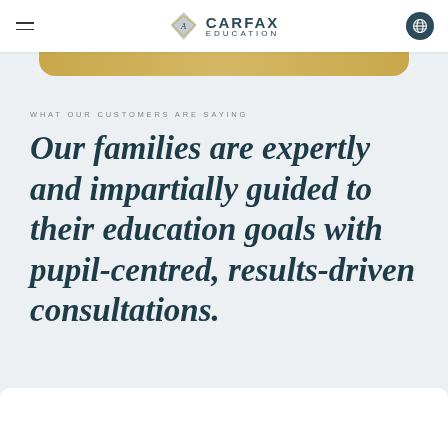CARFAX EDUCATION
WHAT OUR CUSTOMERS ARE SAYING
Our families are expertly and impartially guided to their education goals with pupil-centred, results-driven consultations.